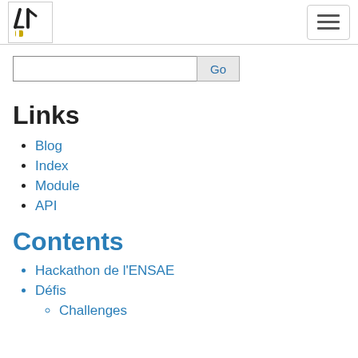[Logo] [Hamburger menu button]
[Search input] Go
Links
Blog
Index
Module
API
Contents
Hackathon de l'ENSAE
Défis
Challenges